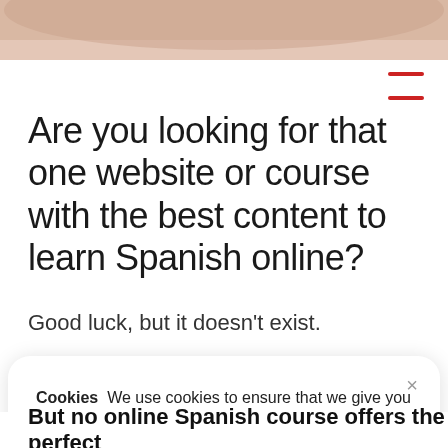[Figure (photo): Partial top image of a person, cropped at the top of the page]
Are you looking for that one website or course with the best content to learn Spanish online?
Good luck, but it doesn't exist.
Cookies  We use cookies to ensure that we give you the best experience on our website.
ACCEPT   LEARN MORE & ADJUST
But no online Spanish course offers the perfect